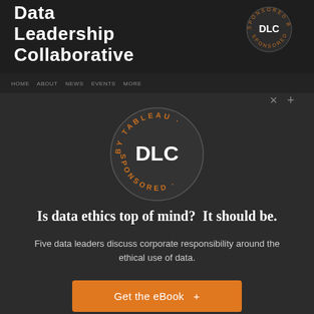Data Leadership Collaborative
[Figure (logo): Circular badge with text 'SPONSORED BY TABLEAU' around the outside and 'DLC' in the center, orange and white on dark background]
Is data ethics top of mind?  It should be.
Five data leaders discuss corporate responsibility around the ethical use of data.
Get the eBook  +